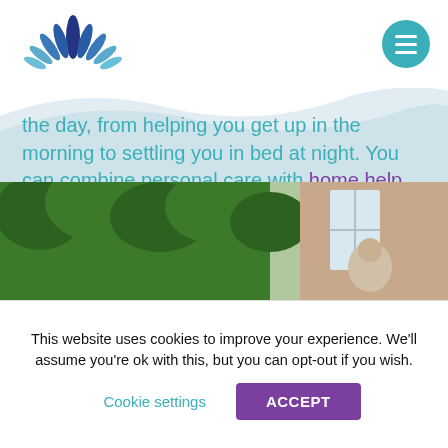[Figure (logo): Blue and navy flower/lotus leaf logo]
[Figure (other): Teal circular menu hamburger button]
the day, from helping you get up in the morning to settling you in bed at night. You can combine personal care with home help tasks and social care, for all-round support to keep you independent.
[Figure (photo): Photo of green hedge and white-framed window exterior of house, elderly person partially visible]
This website uses cookies to improve your experience. We'll assume you're ok with this, but you can opt-out if you wish.
Cookie settings
ACCEPT